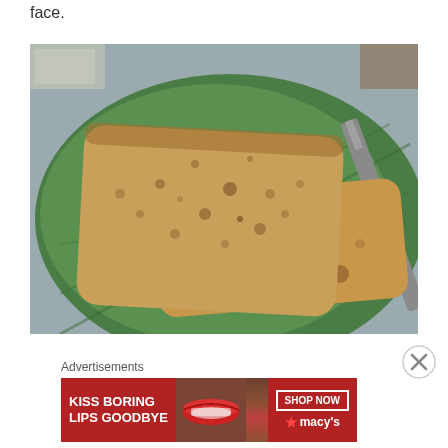face.
[Figure (photo): Two slices of whole wheat bread on a green leaf-patterned plate, with a knife visible, photographed from above close-up.]
Advertisements
[Figure (photo): Macy's advertisement banner with red background showing text 'KISS BORING LIPS GOODBYE' and 'SHOP NOW' button with Macy's star logo, with a woman's lips in the center.]